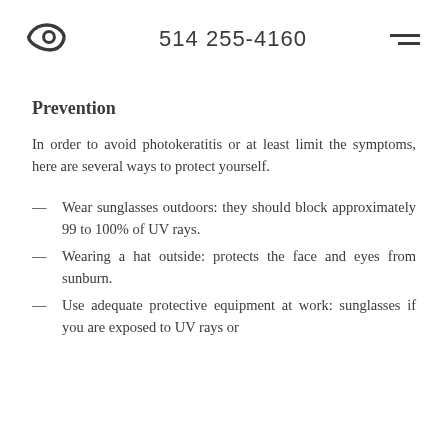514 255-4160
Prevention
In order to avoid photokeratitis or at least limit the symptoms, here are several ways to protect yourself.
Wear sunglasses outdoors: they should block approximately 99 to 100% of UV rays.
Wearing a hat outside: protects the face and eyes from sunburn.
Use adequate protective equipment at work: sunglasses if you are exposed to UV rays or